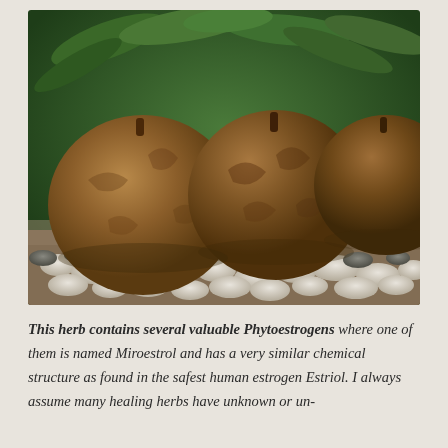[Figure (photo): Three large round brown root tubers (Pueraria mirifica or similar herb) resting on white and grey pebbles with green foliage in the background]
This herb contains several valuable Phytoestrogens where one of them is named Miroestrol and has a very similar chemical structure as found in the safest human estrogen Estriol. I always assume many healing herbs have unknown or un-